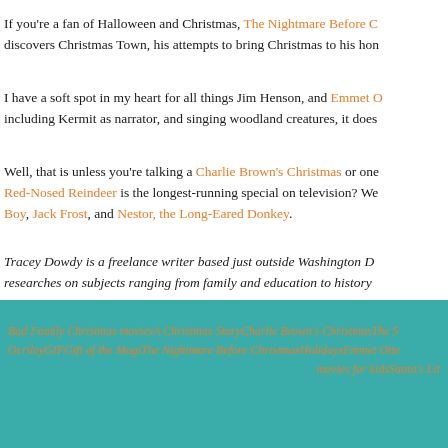If you're a fan of Halloween and Christmas, The Nightmare Before C discovers Christmas Town, his attempts to bring Christmas to his hon
I have a soft spot in my heart for all things Jim Henson, and Emmet O including Kermit as narrator, and singing woodland creatures, it does
Well, that is unless you're talking a Charlie Brown's Christmas or one Red-Nosed Reindeer is the longest-running special on television? We Boy, Jack Frost, and Nestor, the Long-Eared Donkey.
Tracey Dowdy is a freelance writer based just outside Washington DC researches on subjects ranging from family and education to history
Bad Family Christmas moviesA Christmas StoryCharlie Brown's ChristmasThe S OcrileyGIFGift of the MagiThe Nightmare Before ChristmasHolidaysEmmet Otte movies for kidsSanta's Lit